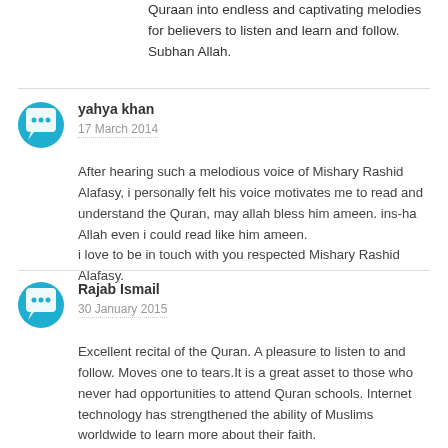Quraan into endless and captivating melodies for believers to listen and learn and follow. Subhan Allah.
yahya khan
17 March 2014

After hearing such a melodious voice of Mishary Rashid Alafasy, i personally felt his voice motivates me to read and understand the Quran, may allah bless him ameen. ins-ha Allah even i could read like him ameen.
i love to be in touch with you respected Mishary Rashid Alafasy.
Rajab Ismail
30 January 2015

Excellent recital of the Quran. A pleasure to listen to and follow. Moves one to tears.It is a great asset to those who never had opportunities to attend Quran schools. Internet technology has strengthened the ability of Muslims worldwide to learn more about their faith.